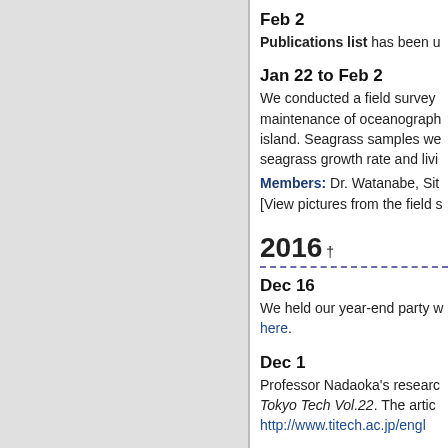Feb 2
Publications list has been u
Jan 22 to Feb 2
We conducted a field survey maintenance of oceanograph island. Seagrass samples we seagrass growth rate and livi
Members: Dr. Watanabe, Sit [View pictures from the field s
2016 †
Dec 16
We held our year-end party w here.
Dec 1
Professor Nadaoka's researc Tokyo Tech Vol.22. The artic http://www.titech.ac.jp/engl